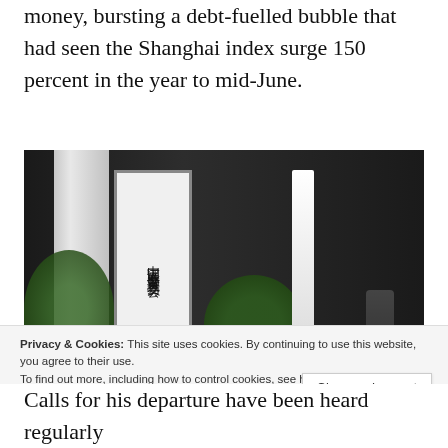money, bursting a debt-fuelled bubble that had seen the Shanghai index surge 150 percent in the year to mid-June.
[Figure (photo): Exterior photo of the China Securities Regulatory Commission (CSRC) building, showing the Chinese characters sign '中国证券监督管理委员会', with trees, shrubs, glass doors, and a security guard visible.]
Privacy & Cookies: This site uses cookies. By continuing to use this website, you agree to their use.
To find out more, including how to control cookies, see here: Cookie Policy
Close and accept
Calls for his departure have been heard regularly